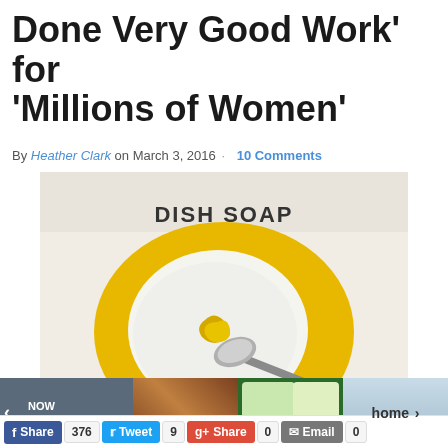Done Very Good Work' for 'Millions of Women'
By Heather Clark on March 3, 2016 · 10 Comments
[Figure (photo): A yellow bowl with white powder (baking soda) and yellow dish soap being mixed with a metal spoon. Text overlay reads 'DISH SOAP' at top and '5-MINUTE CRAFTS' watermark at bottom.]
NOW PLAYING
Share  376  Tweet  9  Share  0  Email  0